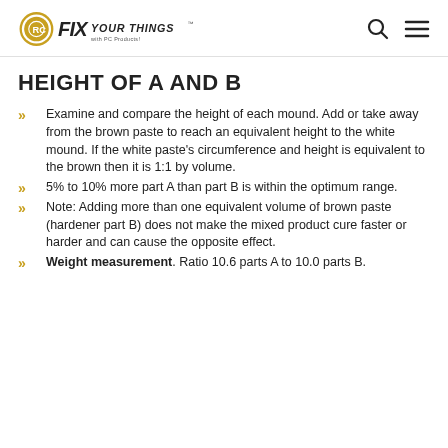FIX YOUR THINGS™ with PC Products!
HEIGHT OF A AND B
Examine and compare the height of each mound. Add or take away from the brown paste to reach an equivalent height to the white mound. If the white paste's circumference and height is equivalent to the brown then it is 1:1 by volume.
5% to 10% more part A than part B is within the optimum range.
Note: Adding more than one equivalent volume of brown paste (hardener part B) does not make the mixed product cure faster or harder and can cause the opposite effect.
Weight measurement. Ratio 10.6 parts A to 10.0 parts B.